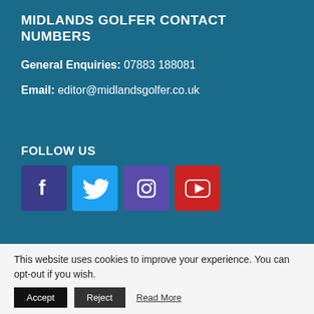MIDLANDS GOLFER CONTACT NUMBERS
General Enquiries: 07883 188081
Email: editor@midlandsgolfer.co.uk
FOLLOW US
[Figure (infographic): Four social media icons: Facebook (dark blue/purple), Twitter (light blue), Instagram (purple), YouTube (red)]
This website uses cookies to improve your experience. You can opt-out if you wish.
Accept  Reject  Read More